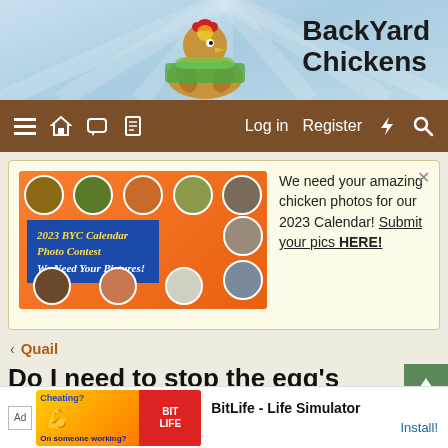[Figure (screenshot): BackYard Chickens website header with chicken mascot logo and site name]
BackYard Chickens
[Figure (screenshot): Navigation bar with menu icons, Log in, Register, lightning bolt, and search icons]
[Figure (photo): 2023 BYC Calendar Photo Contest advertisement banner with chicken photos]
We need your amazing chicken photos for our 2023 Calendar! Submit your pics HERE!
< Quail
Do I need to stop the egg's from turning 2 days before they hatch ?
chickencrazy999 · Sep 2, 2013
[Figure (screenshot): BitLife - Life Simulator advertisement at the bottom]